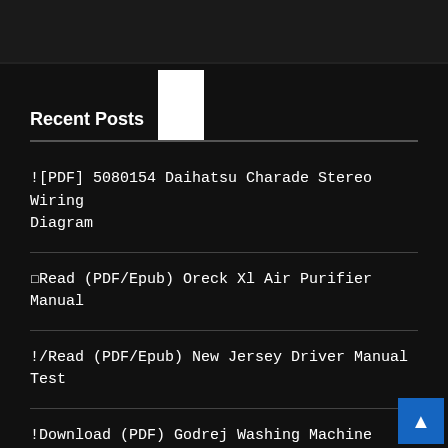Recent Posts
![PDF] 5080154 Daihatsu Charade Stereo Wiring Diagram
☐Read (PDF/Epub) Oreck Xl Air Purifier Manual
!/Read (PDF/Epub) New Jersey Driver Manual Test
!Download (PDF) Godrej Washing Machine Wiring Diagram
⊠/Download (PDF) Robert Service Cremation Of Sam Mcgee